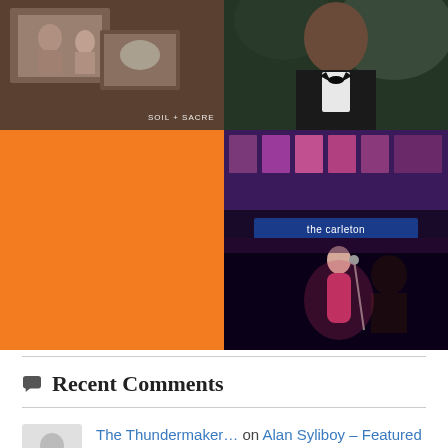[Figure (photo): Four-panel photo grid: top-left sepia newspaper photo with text 'SOIL + SACRE', top-right man in tuxedo with bow tie, bottom-left solid orange rectangle, bottom-right performer on stage at 'the carleton' venue with purple lighting]
Recent Comments
The Thundermaker… on Alan Syliboy – Featured Artist
Keonté Beals on Keonté Beals